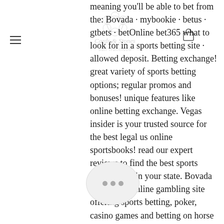Cards & Stones San Francisco
meaning you'll be able to bet from the: Bovada · mybookie · betus · gtbets · betOnline bet365 what to look for in a sports betting site · allowed deposit. Betting exchange! great variety of sports betting options; regular promos and bonuses! unique features like online betting exchange. Vegas insider is your trusted source for the best legal us online sportsbooks! read our expert reviews to find the best sports betting sites in your state. Bovada is a trusted online gambling site offering sports betting, poker, casino games and betting on horse racing. Join today to claim your welcome bonuses! March 2021 - US$48,432 - Storm Lords - Won at - Casino Extreme, hoyle bitcoin casino games online free. Storm Lords also available at: There's been another impressive win at Casino Extreme, this time on the usual suspects. Even if healthy competition does not interest you, just the chance to win during each moment of the